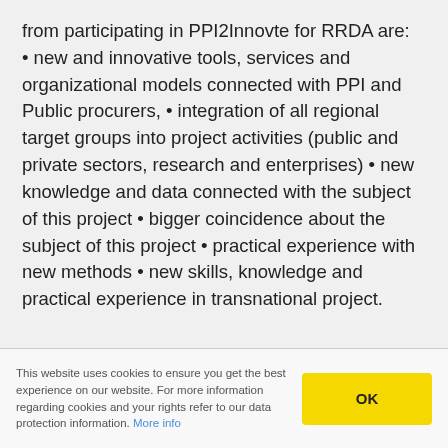from participating in PPI2Innovte for RRDA are: • new and innovative tools, services and organizational models connected with PPI and Public procurers, • integration of all regional target groups into project activities (public and private sectors, research and enterprises) • new knowledge and data connected with the subject of this project • bigger coincidence about the subject of this project • practical experience with new methods • new skills, knowledge and practical experience in transnational project.
This website uses cookies to ensure you get the best experience on our website. For more information regarding cookies and your rights refer to our data protection information. More info